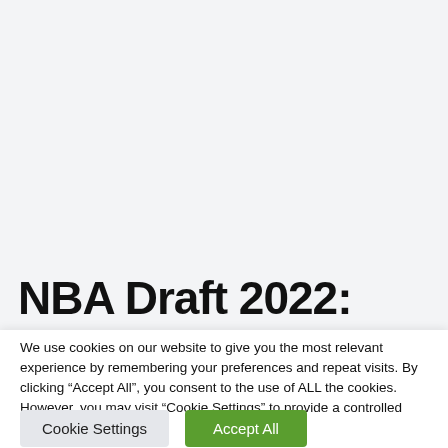NBA Draft 2022:
We use cookies on our website to give you the most relevant experience by remembering your preferences and repeat visits. By clicking “Accept All”, you consent to the use of ALL the cookies. However, you may visit "Cookie Settings" to provide a controlled consent.
Cookie Settings
Accept All